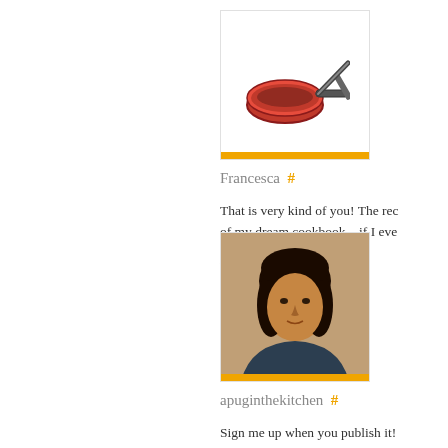[Figure (illustration): Avatar image of a frying pan with handle, above an orange bar]
Francesca  #
That is very kind of you! The rec of my dream cookbook – if I eve
November 12, 2015
[Figure (photo): Photo of a woman with dark curly hair, above an orange bar]
apuginthekitchen  #
Sign me up when you publish it!
November 12, 2015